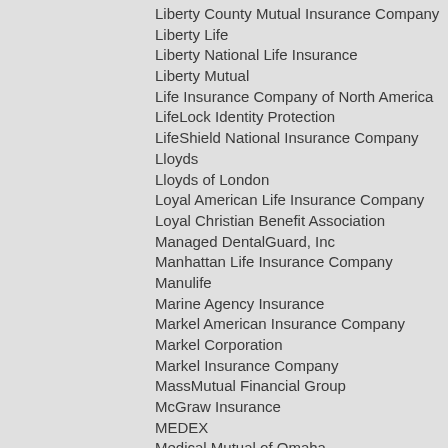Liberty County Mutual Insurance Company
Liberty Life
Liberty National Life Insurance
Liberty Mutual
Life Insurance Company of North America
LifeLock Identity Protection
LifeShield National Insurance Company
Lloyds
Lloyds of London
Loyal American Life Insurance Company
Loyal Christian Benefit Association
Managed DentalGuard, Inc
Manhattan Life Insurance Company
Manulife
Marine Agency Insurance
Markel American Insurance Company
Markel Corporation
Markel Insurance Company
MassMutual Financial Group
McGraw Insurance
MEDEX
Medical Mutual of Omaha
Medico Insurance Company
Medico Corp Life Insurance Company
Medjet Assist